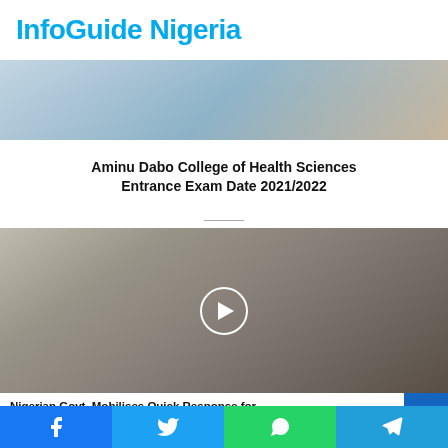InfoGuide Nigeria
[Figure (photo): Photo showing people, partial view of hands or figures, appears to be a rescue or outdoor scene.]
Aminu Dabo College of Health Sciences Entrance Exam Date 2021/2022
[Figure (photo): Photo of a collapsed 21-storey building with rescue workers and bystanders searching through rubble. A play button overlay is shown in the center.]
Nigerian Govt. Mobilises Quick Response for Collapsed 21-Storey Building
Facebook  Twitter  WhatsApp  Telegram